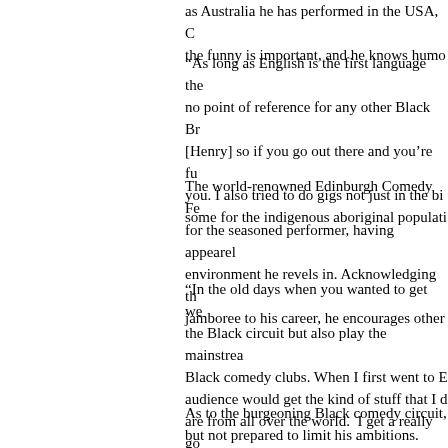as Australia he has performed in the USA, C the funny is important, and he knows humo
“As long as English is the first language the no point of reference for any other Black Br [Henry] so if you go out there and you’re fu you. I also tried to do gigs not just in the bi some for the indigenous aboriginal populati
The world-renowned Edinburgh Comedy Fe for the seasoned performer, having appeare environment he revels in. Acknowledging th jamboree to his career, he encourages other
“In the old days when you wanted to get we the Black circuit but also play the mainstrea Black comedy clubs. When I first went to E audience would get the kind of stuff that I d are from all over the world.  I get a really go keep going back; and I try and keep it fresh. it.”
As to the burgeoning Black comedy circuit, but not prepared to limit his ambitions.